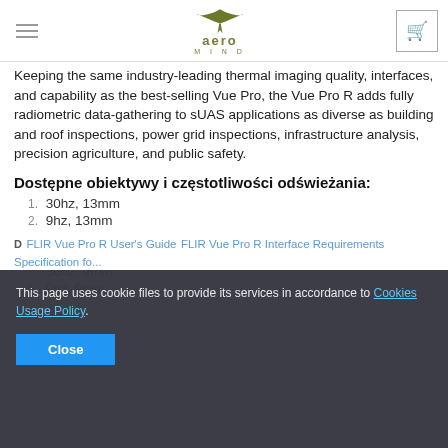aero MIND
Keeping the same industry-leading thermal imaging quality, interfaces, and capability as the best-selling Vue Pro, the Vue Pro R adds fully radiometric data-gathering to sUAS applications as diverse as building and roof inspections, power grid inspections, infrastructure analysis, precision agriculture, and public safety.
Dostępne obiektywy i częstotliwości odświeżania:
30hz, 13mm
9hz, 13mm
30hz, 19mm
9hz, 19mm
30hz, 9mm
9hz, 9mm
This page uses cookie files to provide its services in accordance to Cookies Usage Policy.
FLIR Vue Pro R User's Guide
FLIR Vue Pro R Interface Requirements Specification for